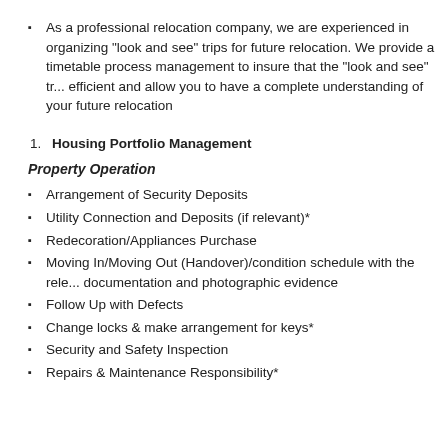As a professional relocation company, we are experienced in organizing “look and see” trips for future relocation. We provide a timetable process management to insure that the “look and see” tr... efficient and allow you to have a complete understanding of your future relocation
Housing Portfolio Management
Property Operation
Arrangement of Security Deposits
Utility Connection and Deposits (if relevant)*
Redecoration/Appliances Purchase
Moving In/Moving Out (Handover)/condition schedule with the rele... documentation and photographic evidence
Follow Up with Defects
Change locks & make arrangement for keys*
Security and Safety Inspection
Repairs & Maintenance Responsibility*